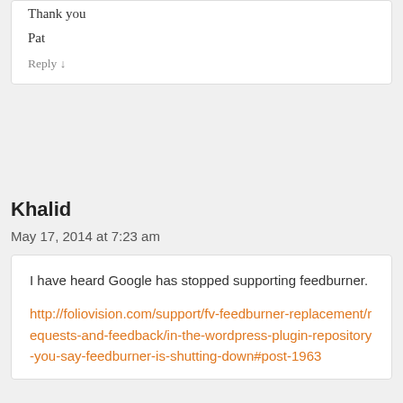Thank you
Pat
Reply ↓
Khalid
May 17, 2014 at 7:23 am
I have heard Google has stopped supporting feedburner.
http://foliovision.com/support/fv-feedburner-replacement/requests-and-feedback/in-the-wordpress-plugin-repository-you-say-feedburner-is-shutting-down#post-1963